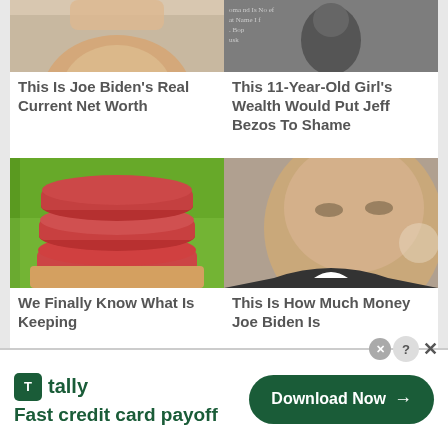[Figure (photo): Cropped photo of Joe Biden's face (top portion)]
[Figure (photo): Old black and white photo of a child with text overlay]
This Is Joe Biden's Real Current Net Worth
This 11-Year-Old Girl's Wealth Would Put Jeff Bezos To Shame
[Figure (photo): Stack of raw beef/meat slices on a wooden board with green background]
[Figure (photo): Joe Biden's face close-up looking serious]
We Finally Know What Is Keeping
This Is How Much Money Joe Biden Is
[Figure (logo): Tally app advertisement banner with green logo and Download Now button. Text: Fast credit card payoff]